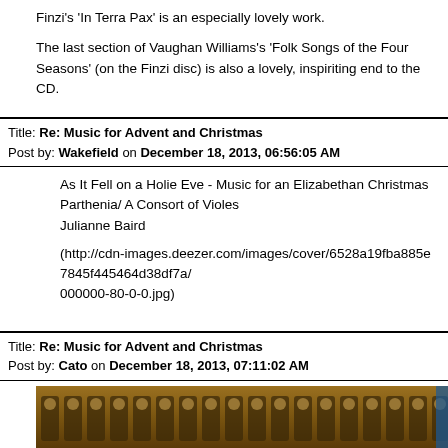Finzi's  'In Terra Pax' is an especially lovely work.
The last section of Vaughan Williams's 'Folk Songs of the Four Seasons' (on the Finzi disc)  is also a lovely, inspiriting end to the CD.
Title: Re: Music for Advent and Christmas
Post by: Wakefield on December 18, 2013, 06:56:05 AM
As It Fell on a Holie Eve - Music for an Elizabethan Christmas
Parthenia/ A Consort of Violes
Julianne Baird

(http://cdn-images.deezer.com/images/cover/6528a19fba885e7845f445464d38df7a/000000-80-0-0.jpg)
Title: Re: Music for Advent and Christmas
Post by: Cato on December 18, 2013, 07:11:02 AM
I have loved this recording for c. 25 years: available still, although technically out of print.
[Figure (photo): A decorative image showing carved or painted figures in a row, appearing to be a medieval or ornate architectural detail, with warm brown/gold tones.]